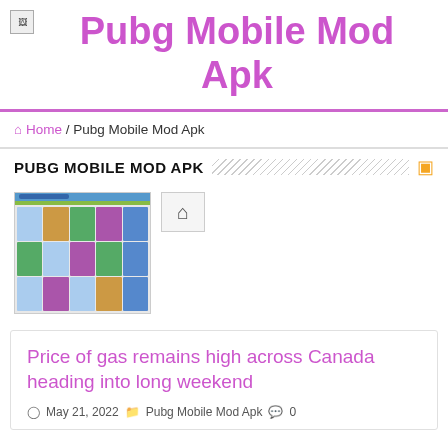Pubg Mobile Mod Apk
🏠 Home / Pubg Mobile Mod Apk
PUBG MOBILE MOD APK
[Figure (screenshot): Screenshot thumbnail of a website with grid of game cover images and a home icon button]
Price of gas remains high across Canada heading into long weekend
May 21, 2022  Pubg Mobile Mod Apk  0